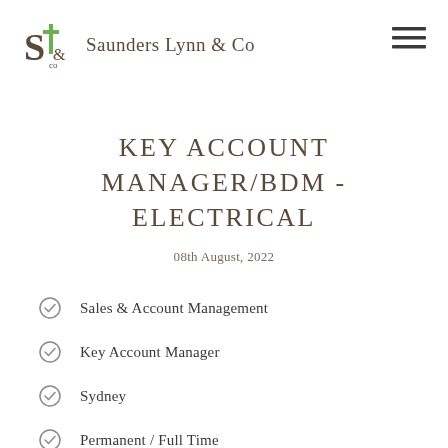Saunders Lynn & Co
KEY ACCOUNT MANAGER/BDM - ELECTRICAL
08th August, 2022
Sales & Account Management
Key Account Manager
Sydney
Permanent / Full Time